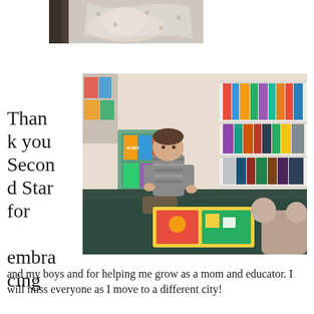[Figure (photo): Partial photo of a baby or young child wrapped in a white blanket with grey pattern, viewed from above/side, cropped at top of page]
[Figure (photo): A young toddler boy in a striped shirt kneeling on dark carpet in a children's bookstore, looking at a colorful picture book. Behind him are shelves and a cart filled with children's books.]
Thank you Second Star for embracing me and my boys and for helping me grow as a mom and educator. I will miss everyone as I move to a different city!